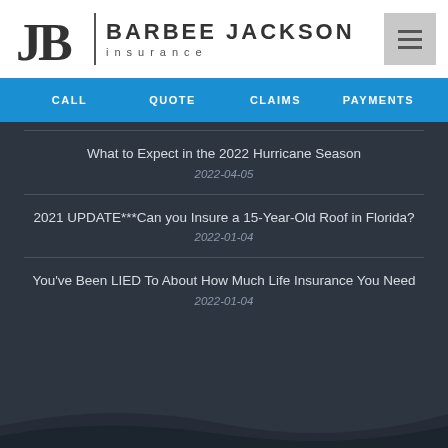[Figure (logo): Barbee Jackson Insurance logo with stylized JB monogram, vertical divider, company name and 'insurance' tagline]
CALL  QUOTE  CLAIMS  PAYMENTS
What to Expect in the 2022 Hurricane Season
2022-04-05
2021 UPDATE***Can you Insure a 15-Year-Old Roof in Florida?
2022-01-04
You've Been LIED To About How Much Life Insurance You Need
2022-01-04